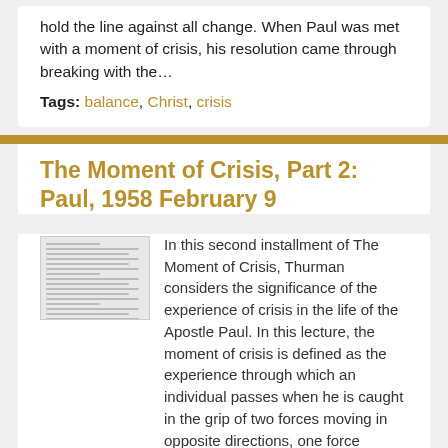hold the line against all change. When Paul was met with a moment of crisis, his resolution came through breaking with the…
Tags: balance, Christ, crisis
The Moment of Crisis, Part 2: Paul, 1958 February 9
[Figure (illustration): Thumbnail image of a document page with lines of text]
In this second installment of The Moment of Crisis, Thurman considers the significance of the experience of crisis in the life of the Apostle Paul. In this lecture, the moment of crisis is defined as the experience through which an individual passes when he is caught in the grip of two forces moving in opposite directions, one force seeking always to